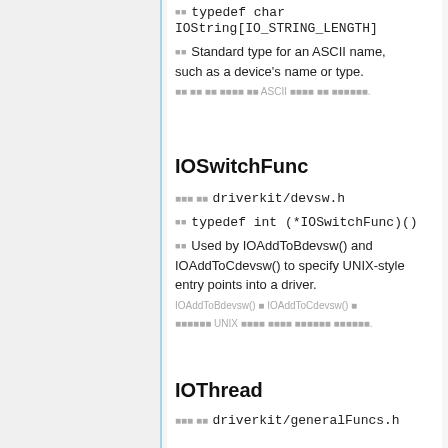typedef char IOString[IO_STRING_LENGTH]
Standard type for an ASCII name, such as a device's name or type.
(Korean description of ASCII name type)
IOSwitchFunc
헤더 파일 driverkit/devsw.h
정의 typedef int (*IOSwitchFunc)()
Used by IOAddToBdevsw() and IOAddToCdevsw() to specify UNIX-style entry points into a driver.
(Korean description of IOAddToBdevsw and IOAddToCdevsw)
IOThread
헤더 파일 driverkit/generalFuncs.h